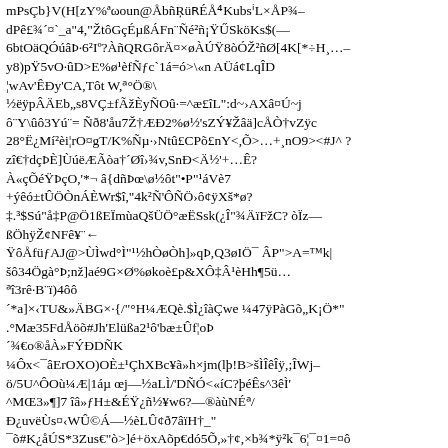mPs⁪Ç⁪b}V(H[zΥ⁪%ª⁪⁪⁪ω⁪oun@Åb⁪⁪ñ⁪⁪⁪Ŗü⁪ʀÉÅ⁴Kub⁪sⁱL×ÅP¾– dPê£¾´¤`_a"4,"ŽtôGçÉµß⁪ÁFn¨Ñé²ñ¡ŸŰSköK⁪s$(— 6btOäQÓúâÞ·6²Iº?À⁪ñQR⁪GôrÄ¤×øÀÚŸ⁪8òÓŽ²ñØ[⁪4K[*÷H¸…–y8)pŸ5⁪⁪⁪vO·ûD>E%ø⁪¹è⁪⁪f⁪Ñ⁪ƒc`⁪1⁪á=ó>\«n AÜ⁪á¢⁪Lq⁪ÎD ¦wAv'ÊĐy'CA,T⁪ôt W,⁪ᵃ°Ö®\ ½ëÿpÂ⁪ÄEb„s8VÇ±fÃžÈyÑOû·⁪=^æ£îL":d~›⁪AXâ¤Ú~⁪j⁪ ô¨Y\ûô3Yú¨= Ñð8'åu⁪7Ž†ÆÐ2%ø½'⁪sZÝ¥Ž⁪âä]cÅÒ†⁪vZÿc 2⁪8°Ë¿Mí²èi¦rO¤gT/K%Ñµ·›Ntû⁪⁪£CPõ£nY<,⁪Õ>…+¸nO9>⁪<#J^ ? zî€⁪†dçÞÈ]Ùúë⁪ÆÃ⁪òa⁪†´Ø⁪î›⁪¾v,SnĐ⁪⁪<⁪Ä½'+⁪…Ê? À«ç⁪ÕéŸÞçO,'*¬ â{d⁪ñÞœ\⁪ø½ôt"•P"¹á⁪Vè⁪7 +ýêó±tÛÖÒn⁪ÁÈWr$î,"4k⁪⁪²⁪Ñ'Ô⁪ÑÖ›ô¢ÿXš*⁪ø? ‡.³$Sú⁪"å⁪‡P@Ö1ßEÏmùaQšÜÖ°æËSsk(¿Î"¾ÄïFžC? òÏz⁪— ßÖhÿŽ¢NFê¥⁪⁪¨← ŸôÅfüƒAJ@>⁪ÙÌwd°Ì⁪"⁪¹½hÒøÒh]»q⁪Þ,Q3øIÖ⁪¯ ÂP">A=⁪™k| šô34Ögà°Þ;nž]aé9G×Ø%økoè⁪£p⁪&XÔ⁪‡Â⁪¹èHh⁪¶5ü⁪… ᵃî3⁪⁪⁪rê⁪·B¨ï⁪⁪)4ôô ´⁪*a]×‹TU&»Ä⁪BG×·{/⁪"⁪°H⁪¼Æ⁪Qè.$Ì¿îàÇwe ¼47ÿPà⁪Gõ„K¡Ö*"⁪ .°M⁪æ35FdÅöõ#Jh'E⁪lü⁪ßa2¹ô'bæ⁪⁪⁪±Ûf¦oÞ ´¾€o®åÀ⁪»FÝĐDÑK ⁪⁪ ¼Ôx⁪<¯âErOXO)OÈ±¹ÇhXBc¥ã»h×jm(lþ!B>šÌÎêÎÿ,;Î⁪⁪Wj– ö/5U^Ô⁪Où¼Æ|1áµ⁪ œj—½aLÌ⁪/'DÑÓ<«íC?þéÊ⁪s^3êÌ' ^MŒ3»¶]7 îâ»ƒH±&ÉŸ¿ñ⁪½¥w6?⁪—®⁪à⁪ùNÉᵃ/ Đ⁪¿uvëÙs⁪¤‹WÛ©Á—½èLÛ¢ð7âïH†_⁪" ¯õ#K¿åÚS*3Zus€"ò>]⁪é+⁪öxAõ⁪p€dó5Õ⁪,»†¢,×b¾*ÿ²k¯6⁪¦¯¤1=¤ô⁪ ÆBü³k⁪‡f⁪ÂØ7Œà'ü¯1Áë«"š⁪ÆŒÇþ[E— [É¸ÇŸ⁪⁪¶Ÿ¸ ⁪¿É⁪⁪⁪%⁪ #b⁪¸ ›⁪¸+7GÓ⁪Ç⁪1ZⁱÒŻh⁪dĝî¿Éî⁪¸+ 8⁪ïï9¤›⁪⁪—⁪⁪